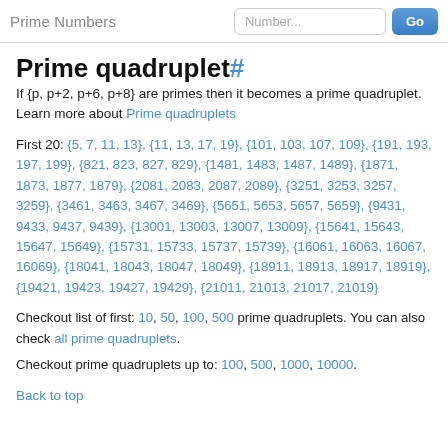Prime Numbers  Number...  Go
Prime quadruplet#
If {p, p+2, p+6, p+8} are primes then it becomes a prime quadruplet. Learn more about Prime quadruplets
First 20: {5, 7, 11, 13}, {11, 13, 17, 19}, {101, 103, 107, 109}, {191, 193, 197, 199}, {821, 823, 827, 829}, {1481, 1483, 1487, 1489}, {1871, 1873, 1877, 1879}, {2081, 2083, 2087, 2089}, {3251, 3253, 3257, 3259}, {3461, 3463, 3467, 3469}, {5651, 5653, 5657, 5659}, {9431, 9433, 9437, 9439}, {13001, 13003, 13007, 13009}, {15641, 15643, 15647, 15649}, {15731, 15733, 15737, 15739}, {16061, 16063, 16067, 16069}, {18041, 18043, 18047, 18049}, {18911, 18913, 18917, 18919}, {19421, 19423, 19427, 19429}, {21011, 21013, 21017, 21019}
Checkout list of first: 10, 50, 100, 500 prime quadruplets. You can also check all prime quadruplets.
Checkout prime quadruplets up to: 100, 500, 1000, 10000.
Back to top